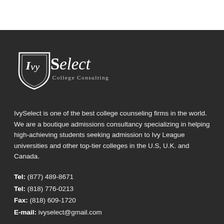[Figure (logo): IvySelect College Consulting logo — shield shape with 'IvySelect' text and 'College Consulting' subtitle in white on dark background]
IvySelect is one of the best college counseling firms in the world. We are a boutique admissions consultancy specializing in helping high-achieving students seeking admission to Ivy League universities and other top-tier colleges in the U.S, U.K. and Canada.
Tel: (877) 489-8671
Tel: (818) 776-0213
Fax: (818) 609-1720
E-mail: ivyselect@gmail.com